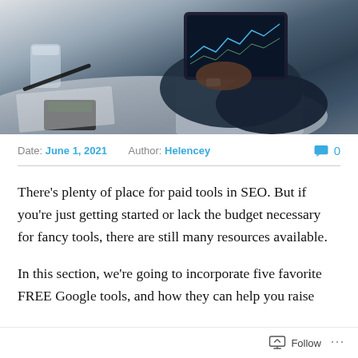[Figure (photo): Person in dark clothing holding a tablet showing financial charts, with a glass of water, pen, and calculator on a desk in the background]
Date: June 1, 2021   Author: Helencey   💬 0
There's plenty of place for paid tools in SEO. But if you're just getting started or lack the budget necessary for fancy tools, there are still many resources available.
In this section, we're going to incorporate five favorite FREE Google tools, and how they can help you raise